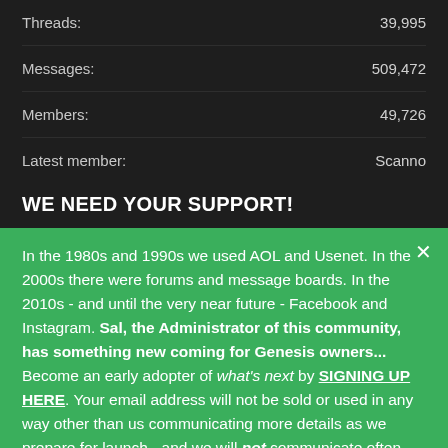Threads: 39,995
Messages: 509,472
Members: 49,726
Latest member: Scanno
WE NEED YOUR SUPPORT!
In the 1980s and 1990s we used AOL and Usenet. In the 2000s there were forums and message boards. In the 2010s - and until the very near future - Facebook and Instagram. Sal, the Administrator of this community, has something new coming for Genesis owners... Become an early adopter of what's next by SIGNING UP HERE. Your email address will not be sold or used in any way other than us communicating more details as we prepare for launch - and we will not communicate often.